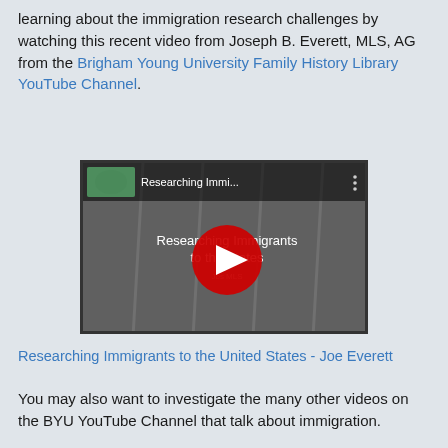learning about the immigration research challenges by watching this recent video from Joseph B. Everett, MLS, AG from the Brigham Young University Family History Library YouTube Channel.
[Figure (screenshot): YouTube video thumbnail showing 'Researching Immigrants to the United States' by Joseph B. Everett, MLS, with a black and white crowd photo and YouTube play button overlay. Video title bar shows 'Researching Immi...' with BYU library thumbnail.]
Researching Immigrants to the United States - Joe Everett
You may also want to investigate the many other videos on the BYU YouTube Channel that talk about immigration.